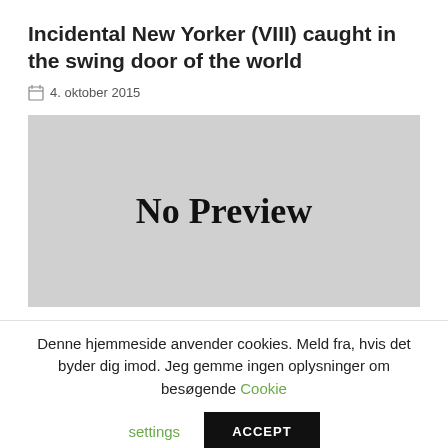Incidental New Yorker (VIII) caught in the swing door of the world
4. oktober 2015
[Figure (other): No Preview placeholder image with grey background and bold text reading 'No Preview']
Denne hjemmeside anvender cookies. Meld fra, hvis det byder dig imod. Jeg gemme ingen oplysninger om besøgende Cookie settings ACCEPT